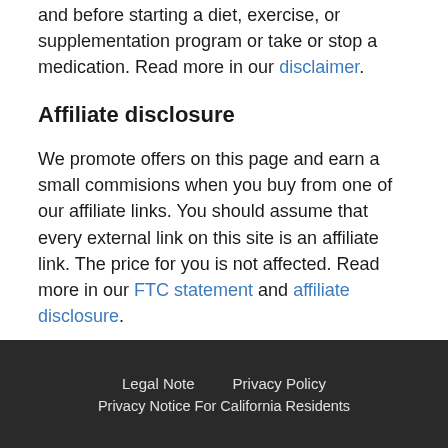and before starting a diet, exercise, or supplementation program or take or stop a medication. Read more in our disclaimer.
Affiliate disclosure
We promote offers on this page and earn a small commisions when you buy from one of our affiliate links. You should assume that every external link on this site is an affiliate link. The price for you is not affected. Read more in our FTC statement and affiliate disclosure.
Legal Note   Privacy Policy   Privacy Notice For California Residents